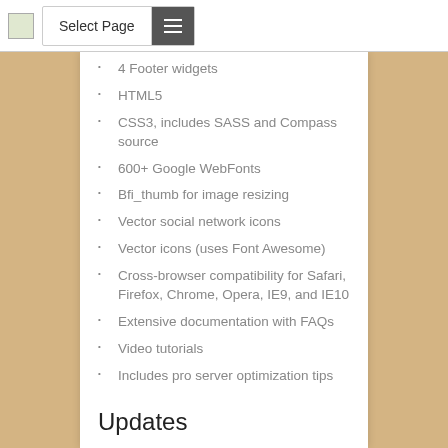Select Page
4 Footer widgets
HTML5
CSS3, includes SASS and Compass source
600+ Google WebFonts
Bfi_thumb for image resizing
Vector social network icons
Vector icons (uses Font Awesome)
Cross-browser compatibility for Safari, Firefox, Chrome, Opera, IE9, and IE10
Extensive documentation with FAQs
Video tutorials
Includes pro server optimization tips
Updates
Version 1.0
First release!